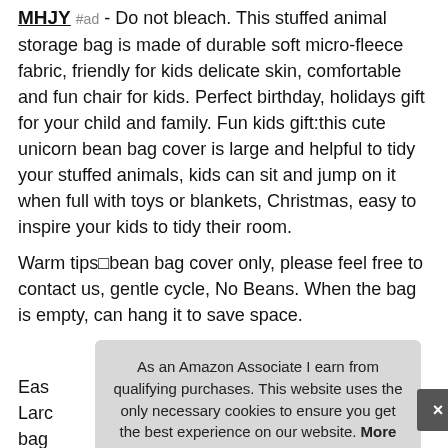MHJY #ad - Do not bleach. This stuffed animal storage bag is made of durable soft micro-fleece fabric, friendly for kids delicate skin, comfortable and fun chair for kids. Perfect birthday, holidays gift for your child and family. Fun kids gift:this cute unicorn bean bag cover is large and helpful to tidy your stuffed animals, kids can sit and jump on it when full with toys or blankets, Christmas, easy to inspire your kids to tidy their room.
Warm tips■bean bag cover only, please feel free to contact us, gentle cycle, No Beans. When the bag is empty, can hang it to save space.
More information #ad
Eas... Larg... bag... problem with our stuffed animal storage bag, thanks!.
As an Amazon Associate I earn from qualifying purchases. This website uses the only necessary cookies to ensure you get the best experience on our website. More information